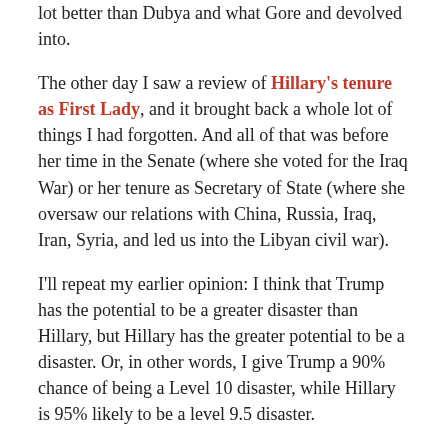lot better than Dubya and what Gore and devolved into.
The other day I saw a review of Hillary's tenure as First Lady, and it brought back a whole lot of things I had forgotten. And all of that was before her time in the Senate (where she voted for the Iraq War) or her tenure as Secretary of State (where she oversaw our relations with China, Russia, Iraq, Iran, Syria, and led us into the Libyan civil war).
I'll repeat my earlier opinion: I think that Trump has the potential to be a greater disaster than Hillary, but Hillary has the greater potential to be a disaster. Or, in other words, I give Trump a 90% chance of being a Level 10 disaster, while Hillary is 95% likely to be a level 9.5 disaster.
Also, Trump has more entertainment potential. A Hillary presidency would be incredibly uncomfortable to watch. If it's all going down the crapper (and I think it will), I demand at least a few LOLs on the way down the drain.